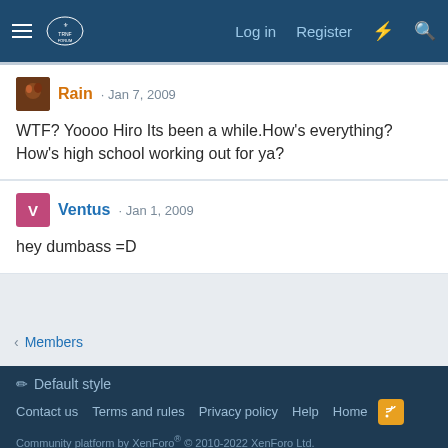Log in  Register
Rain · Jan 7, 2009
WTF? Yoooo Hiro Its been a while.How's everything? How's high school working out for ya?
Ventus · Jan 1, 2009
hey dumbass =D
< Members
Default style
Contact us  Terms and rules  Privacy policy  Help  Home
Community platform by XenForo® © 2010-2022 XenForo Ltd.
Awards System by AddonFlare - Premium XF2 Addons
Xenforo Theme by © XenTR